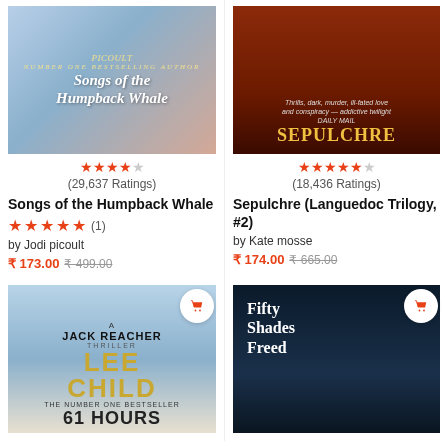[Figure (photo): Book cover: Songs of the Humpback Whale by Jodi Picoult]
[Figure (photo): Book cover: Sepulchre (Languedoc Trilogy #2) by Kate Mosse]
★★★★☆ (29,637 Ratings)
★★★★★☆ (18,436 Ratings)
Songs of the Humpback Whale
Sepulchre (Languedoc Trilogy, #2)
★★★★★ (1)
by Jodi picoult
by Kate mosse
₹ 173.00 ₹ 499.00
₹ 174.00 ₹ 665.00
[Figure (photo): Book cover: 61 Hours - A Jack Reacher Thriller by Lee Child]
[Figure (photo): Book cover: Fifty Shades Freed]